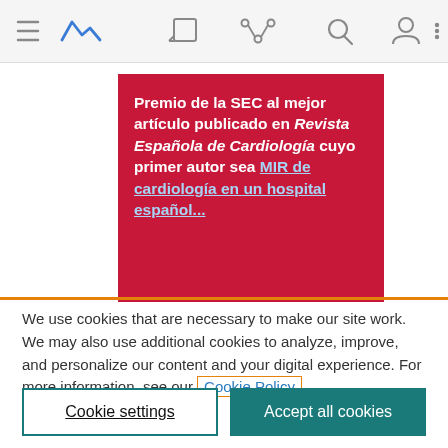[Figure (screenshot): Mobile browser navigation bar with hamburger menu, analytics logo icon, edit icon, share icon, search icon, user icon, and more options icon on a light grey background]
[Figure (photo): Red promotional banner card reading: Premio de la SEC al mejor artículo publicado en Revista Española de Cardiología cuyo primer autor sea MIR de cardiología en un hospital español...]
We use cookies that are necessary to make our site work. We may also use additional cookies to analyze, improve, and personalize our content and your digital experience. For more information, see our Cookie Policy
Cookie settings
Accept all cookies